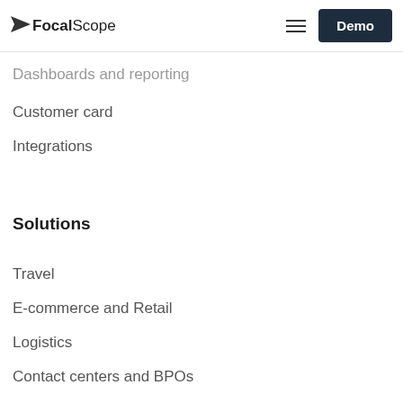FocalScope  Demo
Dashboards and reporting
Customer card
Integrations
Solutions
Travel
E-commerce and Retail
Logistics
Contact centers and BPOs
Help desks
Customer service software